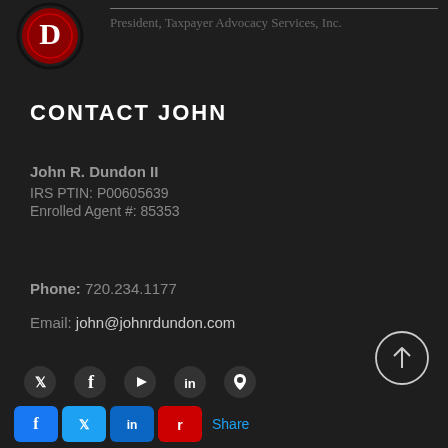[Figure (logo): Red D logo with circular border - Taxpayer Advocacy Services]
President, Taxpayer Advocacy Services, Inc.
CONTACT JOHN
John R. Dundon II
IRS PTIN: P00605639
Enrolled Agent #: 85353
Phone: 720.234.1177
Email: john@johnrdundon.com
[Figure (illustration): Circle with upward arrow - back to top button]
[Figure (infographic): Social media icons row: Twitter, Facebook, YouTube, LinkedIn, Location pin]
[Figure (infographic): Share buttons: Facebook, Twitter, LinkedIn, Reddit share icons with Share label]